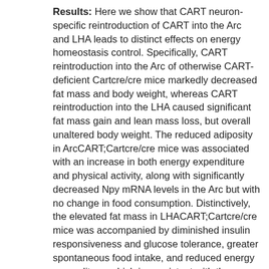Results: Here we show that CART neuron-specific reintroduction of CART into the Arc and LHA leads to distinct effects on energy homeostasis control. Specifically, CART reintroduction into the Arc of otherwise CART-deficient Cartcre/cre mice markedly decreased fat mass and body weight, whereas CART reintroduction into the LHA caused significant fat mass gain and lean mass loss, but overall unaltered body weight. The reduced adiposity in ArcCART;Cartcre/cre mice was associated with an increase in both energy expenditure and physical activity, along with significantly decreased Npy mRNA levels in the Arc but with no change in food consumption. Distinctively, the elevated fat mass in LHACART;Cartcre/cre mice was accompanied by diminished insulin responsiveness and glucose tolerance, greater spontaneous food intake, and reduced energy expenditure, which is consistent with the observed decrease of brown adipose tissue temperature. This is also in line with significantly reduced tyrosine hydroxylase (Th and notably increased corticotropin-releasing hormone (Crh mRNA expressions in the paraventricular nucleus (PVN. Conclusions: Taken together, these results identify catabolic and anabolic effects of CART in the Arc and LHA, respectively, demonstrating for